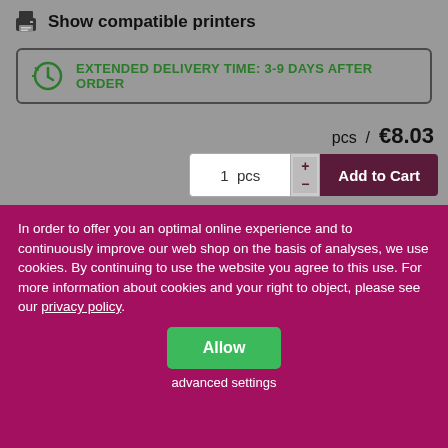Show compatible printers
EXTENDED DELIVERY TIME: 3-9 DAYS AFTER ORDER
pcs / €8.03
1 pcs
Add to Cart
In order to offer you an optimal online experience and to continuously improve our web shop on the basis of analyses, we use cookies. By continuing to use the website you agree to this use. For more information about cookies and your right to object, please see our privacy policy.
Allow
advanced settings